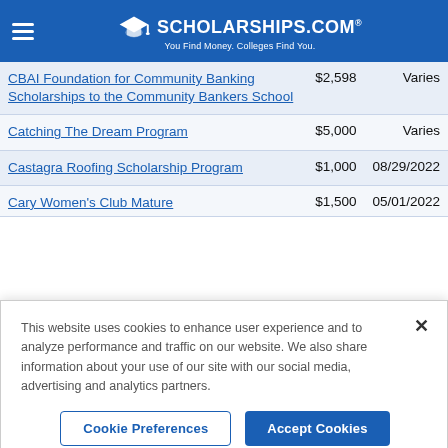SCHOLARSHIPS.COM® — You Find Money. Colleges Find You.
| Scholarship Name | Amount | Deadline |
| --- | --- | --- |
| CBAI Foundation for Community Banking Scholarships to the Community Bankers School | $2,598 | Varies |
| Catching The Dream Program | $5,000 | Varies |
| Castagra Roofing Scholarship Program | $1,000 | 08/29/2022 |
| Cary Women's Club Mature | $1,500 | 05/01/2022 |
This website uses cookies to enhance user experience and to analyze performance and traffic on our website. We also share information about your use of our site with our social media, advertising and analytics partners.